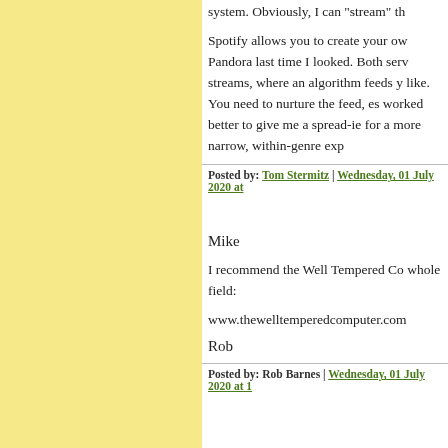system. Obviously, I can "stream" th
Spotify allows you to create your ow Pandora last time I looked. Both serv streams, where an algorithm feeds y like. You need to nurture the feed, es worked better to give me a spread-ie for a more narrow, within-genre exp
Posted by: Tom Stermitz | Wednesday, 01 July 2020 at
Mike
I recommend the Well Tempered Co whole field:
www.thewelltemperedcomputer.com
Rob
Posted by: Rob Barnes | Wednesday, 01 July 2020 at 1